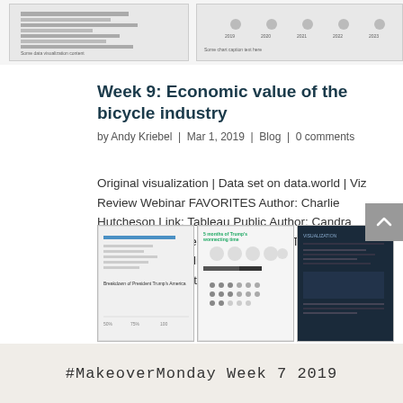[Figure (screenshot): Two chart thumbnails at the top of the page showing data visualizations]
Week 9: Economic value of the bicycle industry
by Andy Kriebel | Mar 1, 2019 | Blog | 0 comments
Original visualization | Data set on data.world | Viz Review Webinar FAVORITES Author: Charlie Hutcheson Link: Tableau Public Author: Candra McRae Link: Tableau Public Author: Tushar More Link: Tableau Public Author: Franklin Herrera Link: Tableau Public Author: Katie...
[Figure (screenshot): Three thumbnail images of data visualizations below the article text]
[Figure (screenshot): Bottom strip showing #MakeoverMonday Week 7 2019]